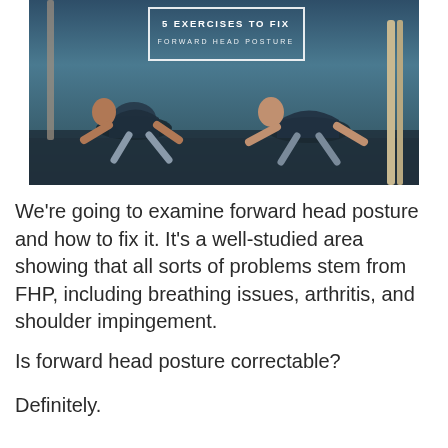[Figure (photo): Person doing a floor exercise (hands and knees pose) in a gym. Text overlay reads '5 EXERCISES TO FIX / FORWARD HEAD POSTURE' in a white-bordered box.]
We're going to examine forward head posture and how to fix it. It's a well-studied area showing that all sorts of problems stem from FHP, including breathing issues, arthritis, and shoulder impingement.
Is forward head posture correctable?
Definitely.
Even if you have some pain or the above problems, waking up the